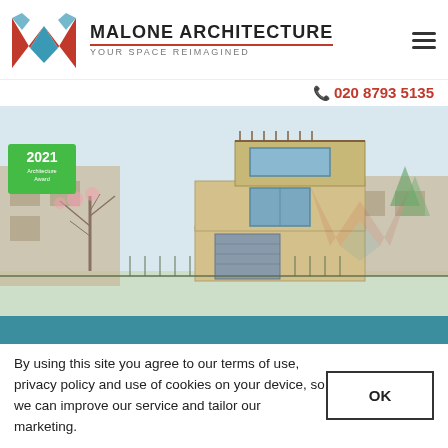[Figure (logo): Malone Architecture logo: red and teal stylized M letterform with company name 'MALONE ARCHITECTURE' and tagline 'YOUR SPACE REIMAGINED']
020 8793 5135
[Figure (illustration): Architectural sketch/illustration of a modern residential building extension with a 2021 award badge in the top-left corner. The sketch shows a house with large windows, a contemporary addition, trees, and a faded Malone Architecture logo watermark in the background.]
By using this site you agree to our terms of use, privacy policy and use of cookies on your device, so we can improve our service and tailor our marketing.